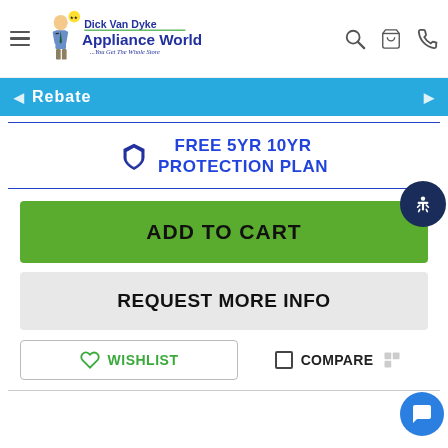Dick Van Dyke Appliance World
Rebate
FREE 5YR 10YR PROTECTION PLAN
ADD TO CART
REQUEST MORE INFO
WISHLIST
COMPARE